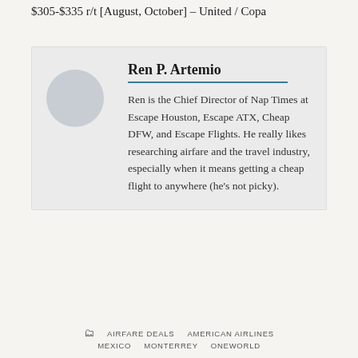$305-$335 r/t [August, October] – United / Copa
Ren P. Artemio
Ren is the Chief Director of Nap Times at Escape Houston, Escape ATX, Cheap DFW, and Escape Flights. He really likes researching airfare and the travel industry, especially when it means getting a cheap flight to anywhere (he's not picky).
AIRFARE DEALS   AMERICAN AIRLINES   MEXICO   MONTERREY   ONEWORLD